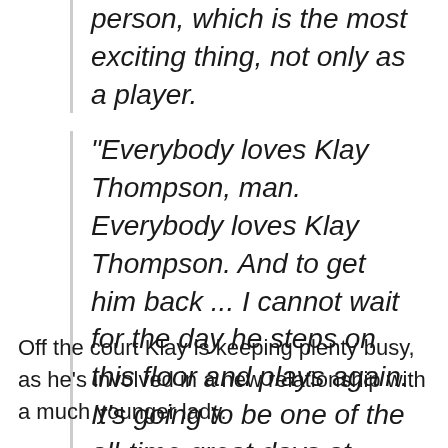person, which is the most exciting thing, not only as a player.
“Everybody loves Klay Thompson, man. Everybody loves Klay Thompson. And to get him back ... I cannot wait for the day he steps on this floor and plays again. It’s going to be one of the all-time great days at Chase Center and in the history of Warriors basketball.”
Off the court Klay is keeping plenty busy, as he’s involved in a new relationship with a much younger lady.